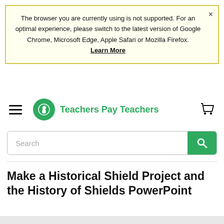The browser you are currently using is not supported. For an optimal experience, please switch to the latest version of Google Chrome, Microsoft Edge, Apple Safari or Mozilla Firefox. Learn More
[Figure (logo): Teachers Pay Teachers logo with green circle containing apple icon and green brand name text]
Search
Make a Historical Shield Project and the History of Shields PowerPoint